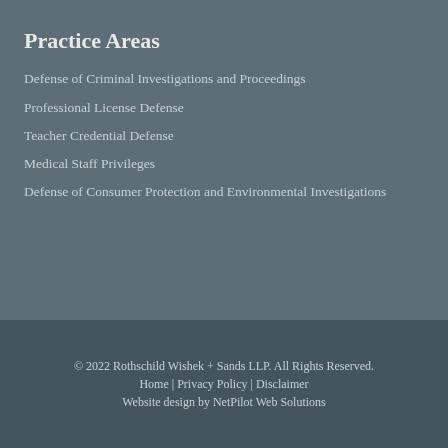Practice Areas
Defense of Criminal Investigations and Proceedings
Professional License Defense
Teacher Credential Defense
Medical Staff Privileges
Defense of Consumer Protection and Environmental Investigations
© 2022 Rothschild Wishek + Sands LLP.  All Rights Reserved.
Home  |  Privacy Policy  |  Disclaimer
Website design by NetPilot Web Solutions